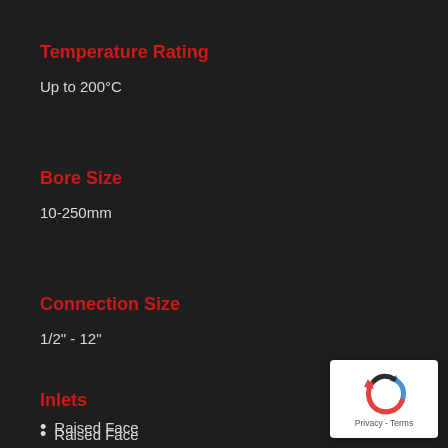Temperature Rating
Up to 200°C
Bore Size
10-250mm
Connection Size
1/2" - 12"
Inlets
Raised Face
Flat Face
Ring Type Joint
[Figure (logo): reCAPTCHA logo with Privacy - Terms text]